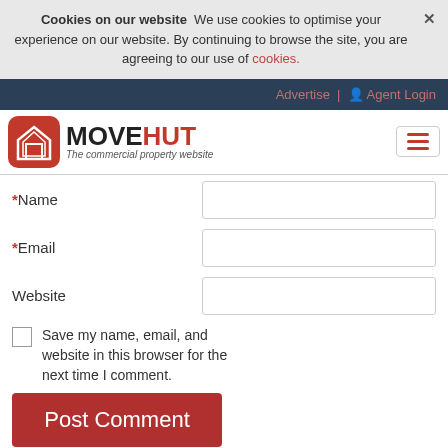Cookies on our website  We use cookies to optimise your experience on our website. By continuing to browse the site, you are agreeing to our use of cookies.
Advertise | Agent Login
[Figure (logo): MOVEHUT logo - The commercial property website]
*Name
*Email
Website
Save my name, email, and website in this browser for the next time I comment.
Post Comment